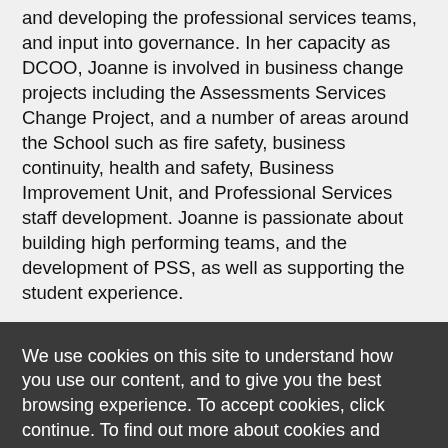and developing the professional services teams, and input into governance. In her capacity as DCOO, Joanne is involved in business change projects including the Assessments Services Change Project, and a number of areas around the School such as fire safety, business continuity, health and safety, Business Improvement Unit, and Professional Services staff development. Joanne is passionate about building high performing teams, and the development of PSS, as well as supporting the student experience.
We use cookies on this site to understand how you use our content, and to give you the best browsing experience. To accept cookies, click continue. To find out more about cookies and change your preferences, visit our cookie policy.